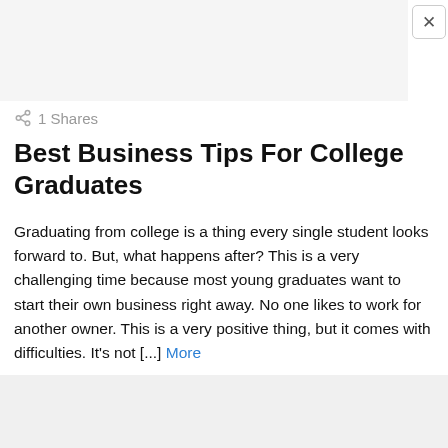[Figure (other): Gray advertisement placeholder box at the top of the page with a close (X) button in the upper right corner]
1 Shares
Best Business Tips For College Graduates
Graduating from college is a thing every single student looks forward to. But, what happens after? This is a very challenging time because most young graduates want to start their own business right away. No one likes to work for another owner. This is a very positive thing, but it comes with difficulties. It's not [...] More
[Figure (other): Gray advertisement placeholder box at the bottom of the page]